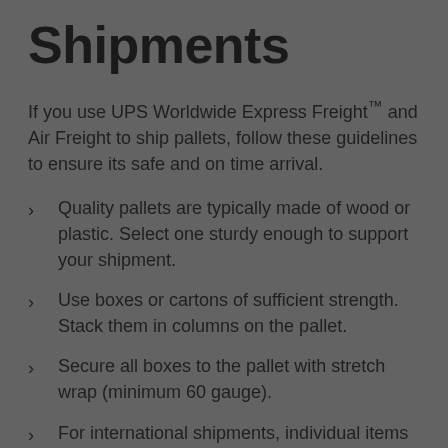Shipments
If you use UPS Worldwide Express Freight™ and Air Freight to ship pallets, follow these guidelines to ensure its safe and on time arrival.
Quality pallets are typically made of wood or plastic. Select one sturdy enough to support your shipment.
Use boxes or cartons of sufficient strength. Stack them in columns on the pallet.
Secure all boxes to the pallet with stretch wrap (minimum 60 gauge).
For international shipments, individual items weighing over 68 Kilograms (150 pounds) should be secured to the pallet with either steel or poly strapping.